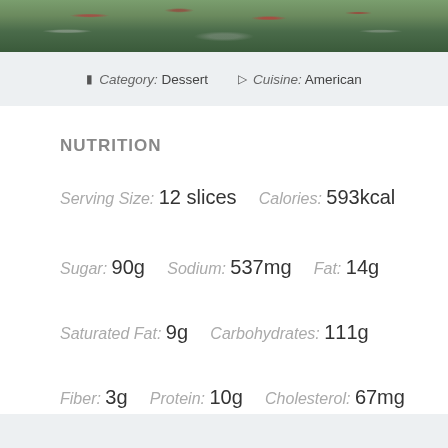[Figure (photo): Photo of a chocolate spice cake with cranberry or cherry toppings, partially visible at top of page]
Category: Dessert   Cuisine: American
NUTRITION
Serving Size: 12 slices   Calories: 593kcal
Sugar: 90g   Sodium: 537mg   Fat: 14g
Saturated Fat: 9g   Carbohydrates: 111g
Fiber: 3g   Protein: 10g   Cholesterol: 67mg
Keywords: Cake dessert, spice chocolate cake recipe, chocolate cake, chocolate spice cake